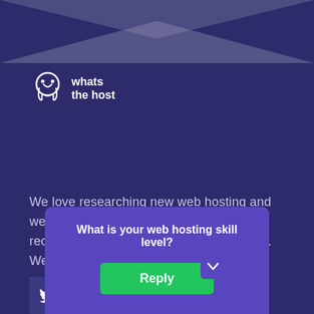[Figure (logo): whats the host logo with octopus icon and text]
We love researching new web hosting and website building tools to bring you solid recommendations to make your life easier. We may earn a referral fee for some links we recommend, it's how we keep the site running!
[Figure (illustration): Twitter social media button icon]
Categories
About
Top Posts
All Reviews
Compare
Website B...
...Hosts
...on Tool
What is your web hosting skill level?
Reply